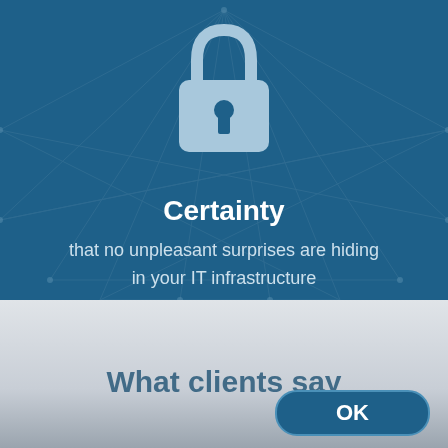[Figure (illustration): Dark blue panel with network/spider web background lines and a padlock icon centered at top]
Certainty
that no unpleasant surprises are hiding in your IT infrastructure
What clients say
OK